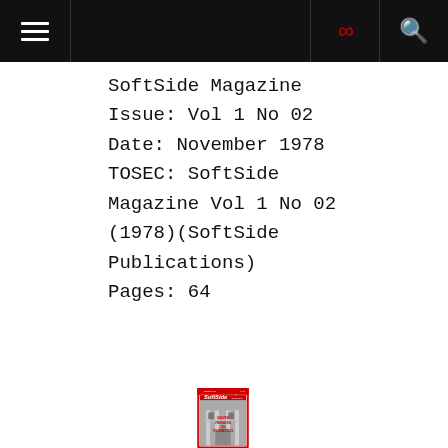SoftSide Magazine - navigation header
SoftSide Magazine
Issue: Vol 1 No 02
Date: November 1978
TOSEC: SoftSide Magazine Vol 1 No 02 (1978)(SoftSide Publications)
Pages: 64
[Figure (photo): Cover of SoftSide Magazine showing a red bordered magazine cover with 'SoftSide' logo at top, and text reading 'SANTA PARAVIA UN FIUMACCIO' overlaid on a black and white photograph of a building with arched doorways and windows.]